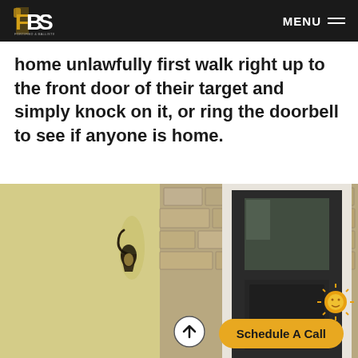FBS FORTIFIED & BALLISTIC SECURITY | MENU
home unlawfully first walk right up to the front door of their target and simply knock on it, or ring the doorbell to see if anyone is home.
[Figure (photo): Photo of a residential front door, dark modern door set in a stone/stucco exterior with a wall-mounted lantern light fixture, and a decorative sun ornament on the right side. Overlaid UI elements include an upward arrow circle button and a gold 'Schedule A Call' button.]